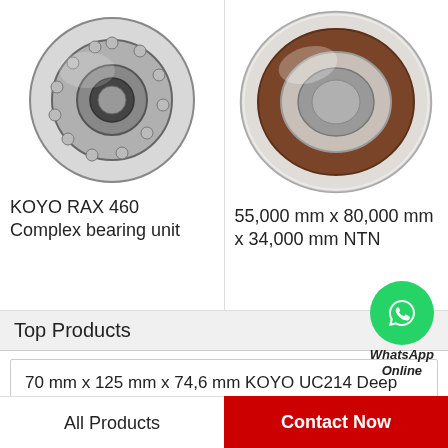[Figure (photo): KOYO RAX 460 Complex bearing unit — cylindrical roller bearing with cage, metallic, viewed from front-angle]
KOYO RAX 460 Complex bearing unit
[Figure (photo): 55,000 mm x 80,000 mm x 34,000 mm NTN — deep groove ball bearing with brown/red rubber seal, metallic housing]
55,000 mm x 80,000 mm x 34,000 mm NTN
Top Products
[Figure (logo): WhatsApp green circle icon with phone handset, labeled WhatsApp Online]
70 mm x 125 mm x 74,6 mm KOYO UC214 Deep groove ball bearing
70 mm x 150 mm x 35 mm SKF N 314 ECM Thrust ball bearing
All Products
Contact Now